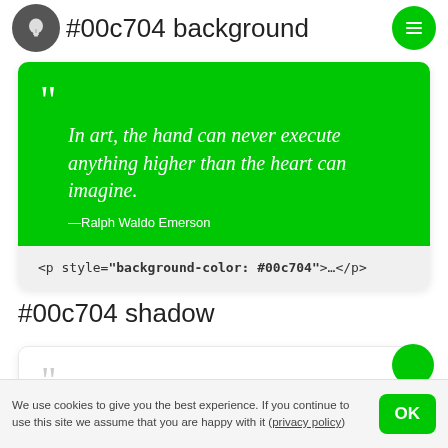#00c704 background
In art, the hand can never execute anything higher than the heart can imagine. —Ralph Waldo Emerson
<p style="background-color: #00c704">…</p>
#00c704 shadow
A painting is never finished - it simply stops in interesting places.
We use cookies to give you the best experience. If you continue to use this site we assume that you are happy with it (privacy policy)